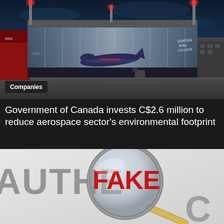[Figure (photo): Exterior nighttime rendering of a modern glass aviation hangar building labeled 'Centennial College' with a jet aircraft visible inside and red beacon lights on the roof]
Companies
Government of Canada invests C$2.6 million to reduce aerospace sector's environmental footprint
[Figure (photo): Close-up photo of a magnifying glass over a document showing the word 'FAKE' in red through the lens, with 'AUTHENTIC' partially visible underneath in grey text]